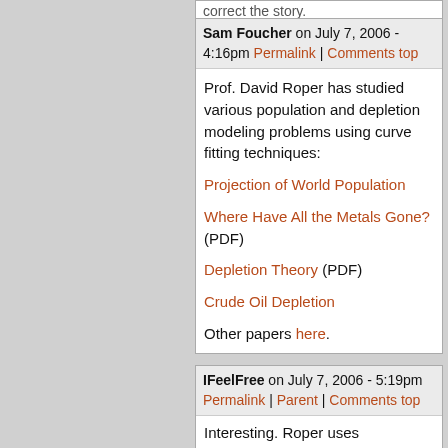correct the story.
Sam Foucher on July 7, 2006 - 4:16pm Permalink | Comments top
Prof. David Roper has studied various population and depletion modeling problems using curve fitting techniques:

Projection of World Population

Where Have All the Metals Gone? (PDF)

Depletion Theory (PDF)

Crude Oil Depletion

Other papers here.
IFeelFree on July 7, 2006 - 5:19pm Permalink | Parent | Comments top
Interesting. Roper uses